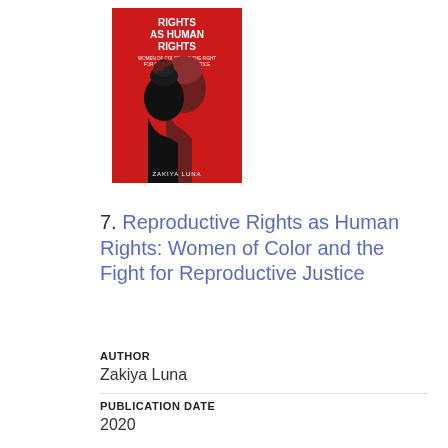[Figure (illustration): Book cover of 'Reproductive Rights as Human Rights: Women of Color and the Fight for Reproductive Justice' by Zakiya Luna. Red background with silhouetted profiles of women, white title text and author name.]
7. Reproductive Rights as Human Rights: Women of Color and the Fight for Reproductive Justice
AUTHOR
Zakiya Luna
PUBLICATION DATE
2020